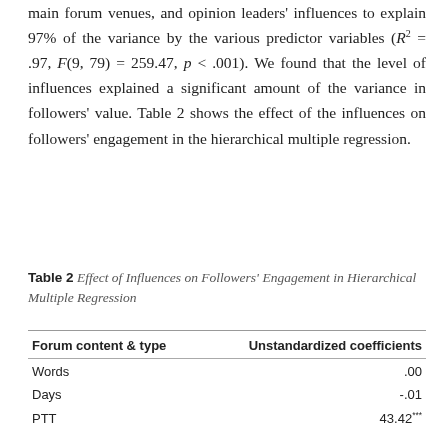main forum venues, and opinion leaders' influences to explain 97% of the variance by the various predictor variables (R² = .97, F(9, 79) = 259.47, p < .001). We found that the level of influences explained a significant amount of the variance in followers' value. Table 2 shows the effect of the influences on followers' engagement in the hierarchical multiple regression.
Table 2 Effect of Influences on Followers' Engagement in Hierarchical Multiple Regression
| Forum content & type | Unstandardized coefficients |
| --- | --- |
| Words | .00 |
| Days | -.01 |
| PTT | 43.42*** |